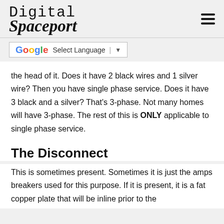Digital Spaceport
[Figure (other): Google Translate selector widget with G logo, 'Select Language' text, separator and dropdown arrow]
the head of it. Does it have 2 black wires and 1 silver wire? Then you have single phase service. Does it have 3 black and a silver? That’s 3-phase. Not many homes will have 3-phase. The rest of this is ONLY applicable to single phase service.
The Disconnect
This is sometimes present. Sometimes it is just the amps breakers used for this purpose. If it is present, it is a fat copper plate that will be inline prior to the